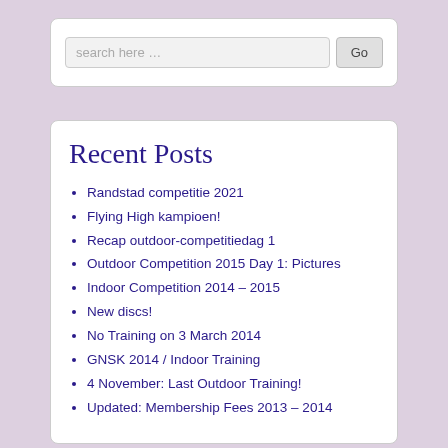search here …
Recent Posts
Randstad competitie 2021
Flying High kampioen!
Recap outdoor-competitiedag 1
Outdoor Competition 2015 Day 1: Pictures
Indoor Competition 2014 – 2015
New discs!
No Training on 3 March 2014
GNSK 2014 / Indoor Training
4 November: Last Outdoor Training!
Updated: Membership Fees 2013 – 2014